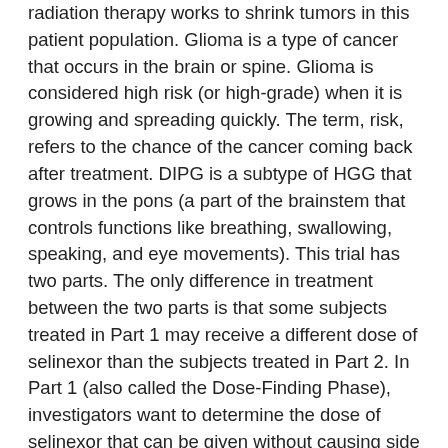radiation therapy works to shrink tumors in this patient population. Glioma is a type of cancer that occurs in the brain or spine. Glioma is considered high risk (or high-grade) when it is growing and spreading quickly. The term, risk, refers to the chance of the cancer coming back after treatment. DIPG is a subtype of HGG that grows in the pons (a part of the brainstem that controls functions like breathing, swallowing, speaking, and eye movements). This trial has two parts. The only difference in treatment between the two parts is that some subjects treated in Part 1 may receive a different dose of selinexor than the subjects treated in Part 2. In Part 1 (also called the Dose-Finding Phase), investigators want to determine the dose of selinexor that can be given without causing side effects that are too severe. This dose is called the maximum tolerated dose (MTD). In Part 2 (also called the Efficacy Phase), investigators want to find out how effective the MTD of selinexor is against HGG or DIPG. Selinexor blocks a protein called CRM1, which may help keep cancer cells from